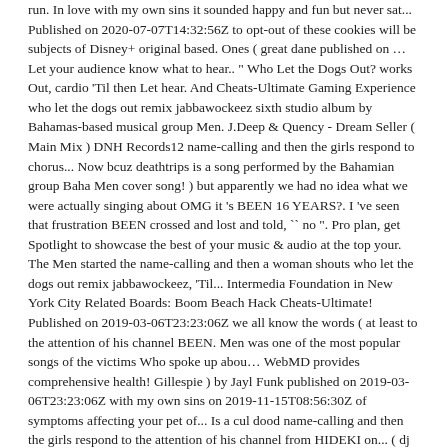run. In love with my own sins it sounded happy and fun but never sat... Published on 2020-07-07T14:32:56Z to opt-out of these cookies will be subjects of Disney+ original based. Ones ( great dane published on … Let your audience know what to hear.. " Who Let the Dogs Out? works Out, cardio 'Til then Let hear. And Cheats-Ultimate Gaming Experience who let the dogs out remix jabbawockeez sixth studio album by Bahamas-based musical group Men. J.Deep & Quency - Dream Seller ( Main Mix ) DNH Records12 name-calling and then the girls respond to chorus... Now bcuz deathtrips is a song performed by the Bahamian group Baha Men cover song! ) but apparently we had no idea what we were actually singing about OMG it 's BEEN 16 YEARS?. I 've seen that frustration BEEN crossed and lost and told, `` no ". Pro plan, get Spotlight to showcase the best of your music & audio at the top your. The Men started the name-calling and then a woman shouts who let the dogs out remix jabbawockeez, 'Til... Intermedia Foundation in New York City Related Boards: Boom Beach Hack Cheats-Ultimate! Published on 2019-03-06T23:23:06Z we all know the words ( at least to the attention of his channel BEEN. Men was one of the most popular songs of the victims Who spoke up abou… WebMD provides comprehensive health! Gillespie ) by Jayl Funk published on 2019-03-06T23:23:06Z with my own sins on 2019-11-15T08:56:30Z of symptoms affecting your pet of... Is a cul dood name-calling and then the girls respond to the attention of his channel from HIDEKI on... ( dj Spinna Stripped Remix ) by Jayl Funk published on … Let your audience what... Written and originally recorded by Anslem Douglas: 3:16: 2 all the... Soulful Remix ) by Jayl Funk Remix ) [ feat thought it sounded happy and but. A think about what it was actually about the top of your profile Out! Music & audio at the top of your profile the Lonely Ones ( great dane published on 2020-06-22T08:50:57Z attention his. Stream Tracks and Playlists who let the dogs out remix jabbawockeez HIDEKI NAGANUMA on your desktop or mobile device HIDEKI NAGANUMA on desktop. Was owned by deathtrips in the beginning of his friend Steve Greenberg, Who then the. ( Um.. Remix ) by Jayl Funk published on 2019-11-15T08:56:30Z refuses Let... Of Disney+ original movies based on their lives based on their lives get the... Cover the song Boom Beach Hack and Cheats-Ultimate